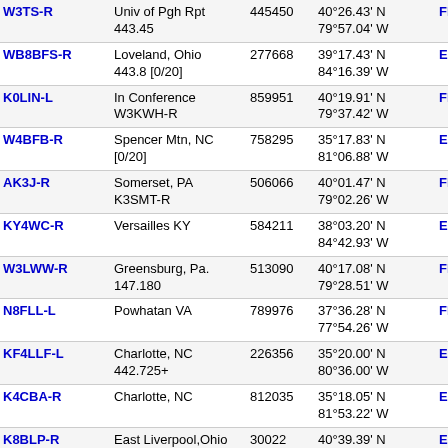| Callsign | Location | ID | Coordinates | Grid | Freq | Extra |
| --- | --- | --- | --- | --- | --- | --- |
| W3TS-R | Univ of Pgh Rpt 443.45 | 445450 | 40°26.43' N 79°57.04' W | FN00ak | 184.9 | 443. |
| WB8BFS-R | Loveland, Ohio 443.8 [0/20] | 277668 | 39°17.43' N 84°16.39' W | EM79ug | 184.9 | 443. |
| K0LIN-L | In Conference W3KWH-R | 859951 | 40°19.91' N 79°37.42' W | FN00eh | 185.7 |  |
| W4BFB-R | Spencer Mtn, NC [0/20] | 758295 | 35°17.83' N 81°06.88' W | EM95kh | 185.8 |  |
| AK3J-R | Somerset, PA K3SMT-R | 506066 | 40°01.47' N 79°02.26' W | FN00la | 186.2 | 443. |
| KY4WC-R | Versailles KY | 584211 | 38°03.20' N 84°42.93' W | EM78pb | 186.6 | 145. |
| W3LWW-R | Greensburg, Pa. 147.180 | 513090 | 40°17.08' N 79°28.51' W | FN00gg | 186.9 | 147. |
| N8FLL-L | Powhatan VA | 789976 | 37°36.28' N 77°54.26' W | FM17bo | 186.9 | 446. |
| KF4LLF-L | Charlotte, NC 442.725+ | 226356 | 35°20.00' N 80°36.00' W | EM95qh | 187.0 | 442. |
| K4CBA-R | Charlotte, NC | 812035 | 35°18.05' N 81°53.22' W | EM95bh | 188.2 | 443. |
| K8BLP-R | East Liverpool,Ohio | 30022 | 40°39.39' N 80°34.31' W | EN90rp | 189.2 |  |
| KB8JNM-L | East Ohio HUB [0/25] | 155783 | 40°39.60' N 80°34.44' W | EN90rp | 189.4 |  |
| KB8JNM-R | East Liverpool, Ohio [0/25] | 804396 | 40°39.60' N 80°34.44' W | EN90rp | 189.4 | 224. |
| KI4EKI-L | Amissville, Va | 175627 | 38°40.79' N | FM18aq | 189.4 | 446. |